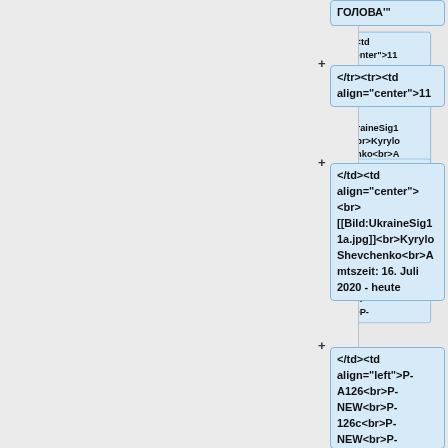ГОЛОВА'"
</tr><tr><td align="center">11
</td><td align="center"> <br> [[Bild:UkraineSig11a.jpg]]<br>Kyrylo Shevchenko<br>Amtszeit: 16. Juli 2020 - heute
</td><td align="left">P-A126<br>P-NEW<br>P-126c<br>P-NEW<br>P-127c<br>P-NEW<br><br>P-NEW<br>P-NEW<br>P-NEW<br>P-NEW<br>P-NEW<br>P-